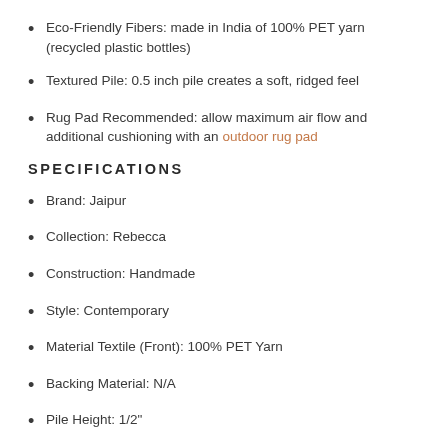Eco-Friendly Fibers: made in India of 100% PET yarn (recycled plastic bottles)
Textured Pile: 0.5 inch pile creates a soft, ridged feel
Rug Pad Recommended: allow maximum air flow and additional cushioning with an outdoor rug pad
SPECIFICATIONS
Brand: Jaipur
Collection: Rebecca
Construction: Handmade
Style: Contemporary
Material Textile (Front): 100% PET Yarn
Backing Material: N/A
Pile Height: 1/2"
Handmade in India